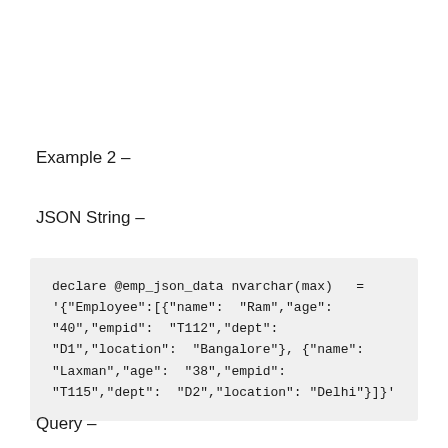Example 2 –
JSON String –
declare @emp_json_data nvarchar(max)   =
'{"Employee":[{"name":  "Ram","age":
"40","empid":  "T112","dept":
"D1","location":  "Bangalore"}, {"name":
"Laxman","age":  "38","empid":
"T115","dept":  "D2","location": "Delhi"}]}'
Query –